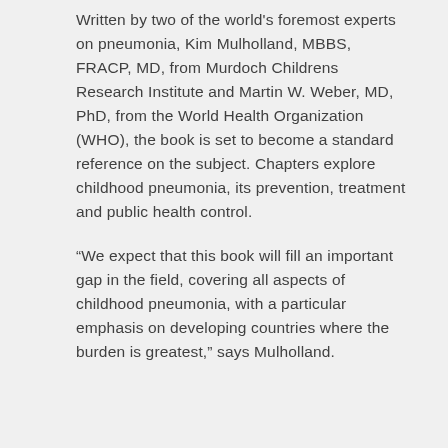Written by two of the world's foremost experts on pneumonia, Kim Mulholland, MBBS, FRACP, MD, from Murdoch Childrens Research Institute and Martin W. Weber, MD, PhD, from the World Health Organization (WHO), the book is set to become a standard reference on the subject. Chapters explore childhood pneumonia, its prevention, treatment and public health control.
“We expect that this book will fill an important gap in the field, covering all aspects of childhood pneumonia, with a particular emphasis on developing countries where the burden is greatest,” says Mulholland.